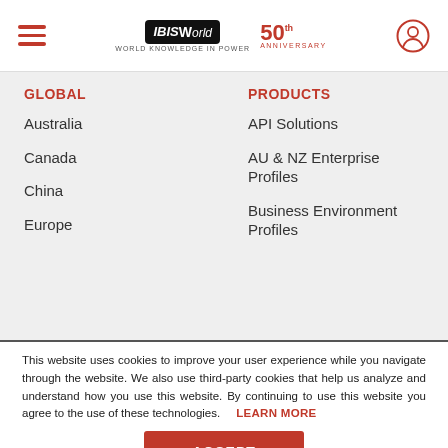IBISWorld 50th Anniversary - Navigation header with hamburger menu and user icon
GLOBAL
Australia
Canada
China
Europe
PRODUCTS
API Solutions
AU & NZ Enterprise Profiles
Business Environment Profiles
This website uses cookies to improve your user experience while you navigate through the website. We also use third-party cookies that help us analyze and understand how you use this website. By continuing to use this website you agree to the use of these technologies. LEARN MORE
ACCEPT